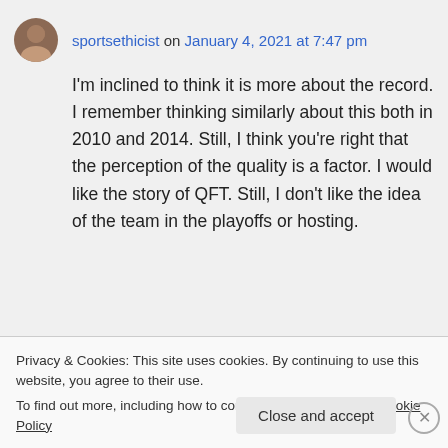sportsethicist on January 4, 2021 at 7:47 pm
I'm inclined to think it is more about the record. I remember thinking similarly about this both in 2010 and 2014. Still, I think you're right that the perception of the quality is a factor. I would like the story of QFT. Still, I don't like the idea of the team in the playoffs or hosting.
Privacy & Cookies: This site uses cookies. By continuing to use this website, you agree to their use.
To find out more, including how to control cookies, see here: Cookie Policy